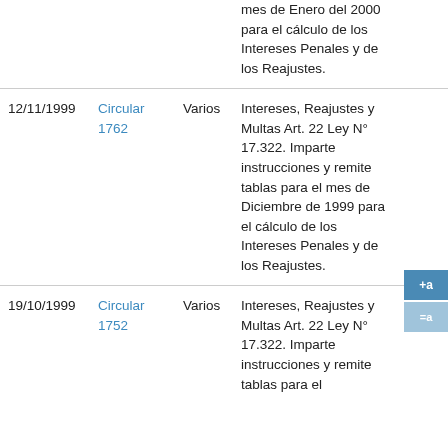| Fecha | Circular | Destinatario | Descripción |  |
| --- | --- | --- | --- | --- |
|  |  |  | mes de Enero del 2000 para el cálculo de los Intereses Penales y de los Reajustes. |  |
| 12/11/1999 | Circular 1762 | Varios | Intereses, Reajustes y Multas Art. 22 Ley N° 17.322. Imparte instrucciones y remite tablas para el mes de Diciembre de 1999 para el cálculo de los Intereses Penales y de los Reajustes. |  |
| 19/10/1999 | Circular 1752 | Varios | Intereses, Reajustes y Multas Art. 22 Ley N° 17.322. Imparte instrucciones y remite tablas para el... |  |